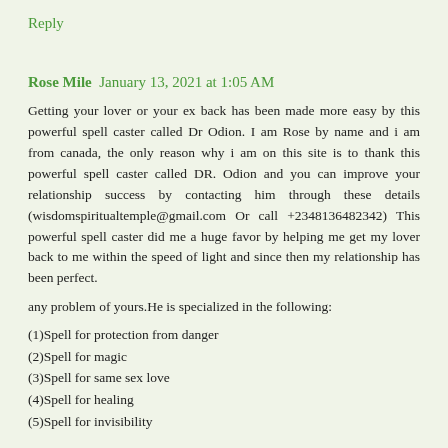Reply
Rose Mile  January 13, 2021 at 1:05 AM
Getting your lover or your ex back has been made more easy by this powerful spell caster called Dr Odion. I am Rose by name and i am from canada, the only reason why i am on this site is to thank this powerful spell caster called DR. Odion and you can improve your relationship success by contacting him through these details (wisdomspiritualtemple@gmail.com Or call +2348136482342) This powerful spell caster did me a huge favor by helping me get my lover back to me within the speed of light and since then my relationship has been perfect.
any problem of yours.He is specialized in the following:
(1)Spell for protection from danger
(2)Spell for magic
(3)Spell for same sex love
(4)Spell for healing
(5)Spell for invisibility